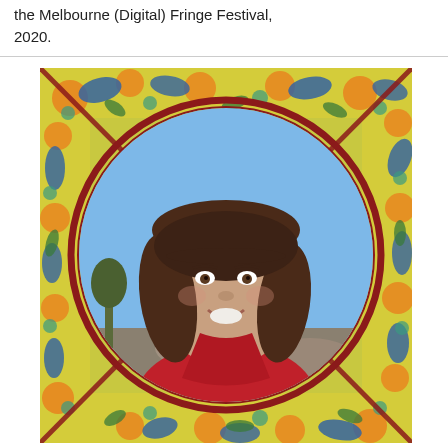the Melbourne (Digital) Fringe Festival, 2020.
[Figure (photo): Portrait photo of a woman with brown hair and bangs, smiling, wearing a red jacket, outdoors with blue sky and rocky landscape in background. The photo is displayed inside a circular crop set within a decorative illustrated frame featuring floral and botanical motifs in yellow, blue, orange, green, and red on a yellow-green background.]